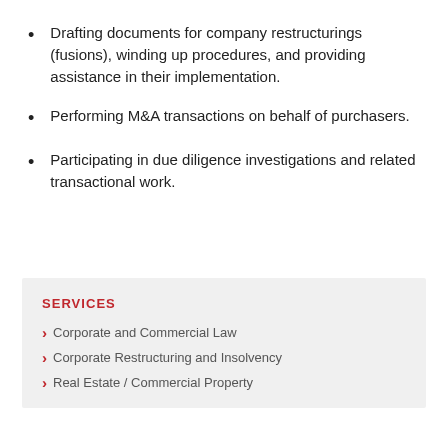Drafting documents for company restructurings (fusions), winding up procedures, and providing assistance in their implementation.
Performing M&A transactions on behalf of purchasers.
Participating in due diligence investigations and related transactional work.
SERVICES
Corporate and Commercial Law
Corporate Restructuring and Insolvency
Real Estate / Commercial Property